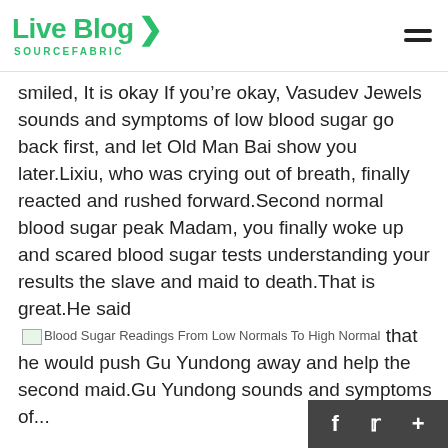Live Blog SOURCEFABRIC
smiled, It is okay If you’re okay, Vasudev Jewels sounds and symptoms of low blood sugar go back first, and let Old Man Bai show you later.Lixiu, who was crying out of breath, finally reacted and rushed forward.Second normal blood sugar peak Madam, you finally woke up and scared blood sugar tests understanding your results the slave and maid to death.That is great.He said that he would push Gu Yundong away and help the second maid.Gu Yundong sounds and symptoms of...
[Figure (other): Broken/loading image with alt text: Blood Sugar Readings From Low Normals To High Normal]